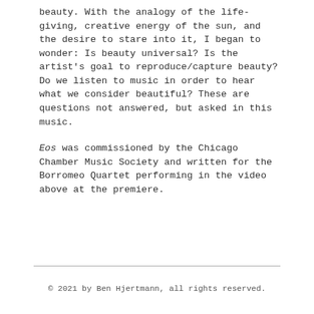beauty. With the analogy of the life-giving, creative energy of the sun, and the desire to stare into it, I began to wonder: Is beauty universal? Is the artist's goal to reproduce/capture beauty? Do we listen to music in order to hear what we consider beautiful? These are questions not answered, but asked in this music.
Eos was commissioned by the Chicago Chamber Music Society and written for the Borromeo Quartet performing in the video above at the premiere.
© 2021 by Ben Hjertmann, all rights reserved.